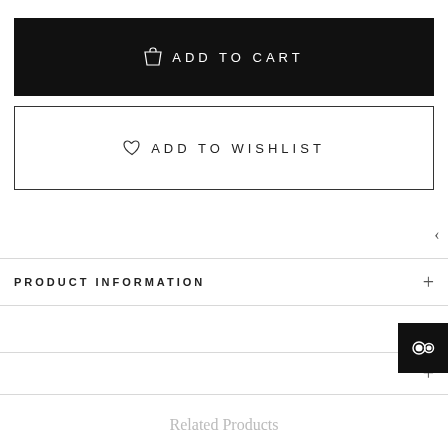ADD TO CART
ADD TO WISHLIST
PRODUCT INFORMATION
Related Products